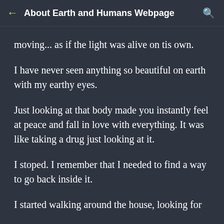About Earth and Humans Webpage
moving... as if the light was alive on tis own.
I have never seen anything so beautiful on earth with my earthy eyes.
Just looking at that body made you instantly feel at peace and fall in love with everything. It was like taking a drug just looking at it.
I stoped. I remember that I needed to find a way to go back inside it.
I started walking around the house, looking for